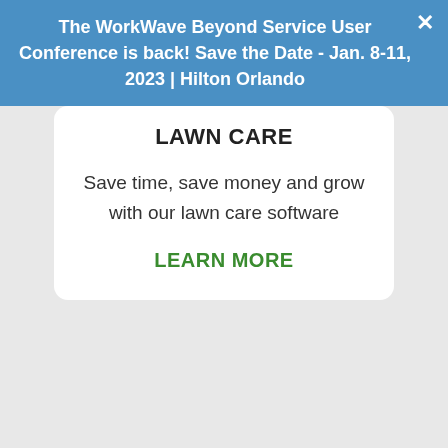The WorkWorkWave Beyond Service User Conference is back! Save the Date - Jan. 8-11, 2023 | Hilton Orlando
LAWN CARE
Save time, save money and grow with our lawn care software
LEARN MORE
Accept and Close ×
Your browser settings do not allow cross-site tracking for advertising. Click on this page to allow AdRoll to use cross-site tracking to tailor ads to you. Learn more or opt out of this AdRoll tracking by clicking here. This message only appears once.